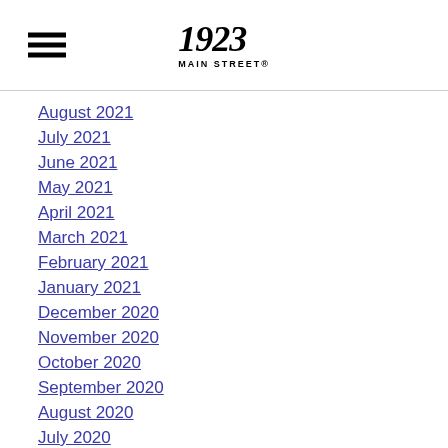1923 Main Street
August 2021
July 2021
June 2021
May 2021
April 2021
March 2021
February 2021
January 2021
December 2020
November 2020
October 2020
September 2020
August 2020
July 2020
June 2020
May 2020
April 2020
March 2020
February 2020